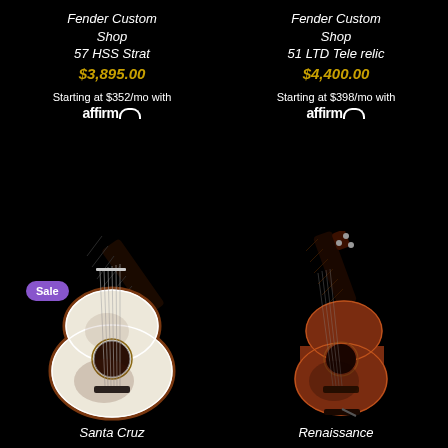Fender Custom Shop 57 HSS Strat
$3,895.00
Starting at $352/mo with affirm
Fender Custom Shop 51 LTD Tele relic
$4,400.00
Starting at $398/mo with affirm
[Figure (photo): Acoustic guitar (Santa Cruz) with Sale badge, white/natural top, dark back]
Santa Cruz
[Figure (photo): Small acoustic guitar (Renaissance) with reddish-brown body]
Renaissance